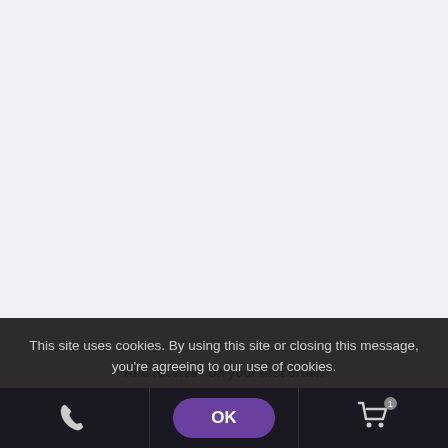This site uses cookies. By using this site or closing this message, you're agreeing to our use of cookies.
And receive... on your first order.
[Figure (screenshot): Cookie consent overlay bar with OK button, phone icon, and shopping cart icon]